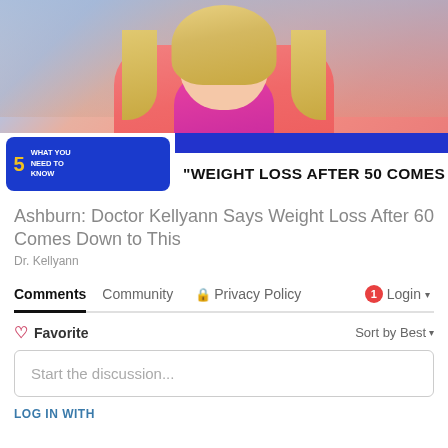[Figure (screenshot): TV news screenshot showing a female anchor in a pink blazer over a pink/magenta blouse. Lower third graphic shows 'WHAT YOU NEED TO KNOW' badge and ticker text: "WEIGHT LOSS AFTER 50 COMES DOWN TO THIS]
Ashburn: Doctor Kellyann Says Weight Loss After 60 Comes Down to This
Dr. Kellyann
Comments  Community  🔒 Privacy Policy  1 Login ▾
♡ Favorite  Sort by Best ▾
Start the discussion...
LOG IN WITH